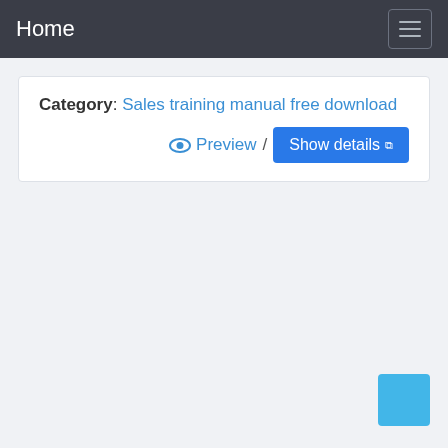Home
Category: Sales training manual free download
👁 Preview / Show details ↗